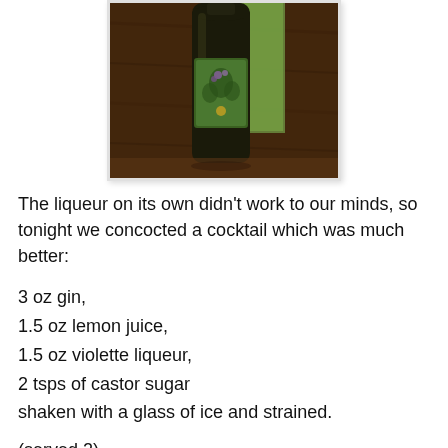[Figure (photo): A dark bottle with a green floral label, sitting on a wooden surface with a green book or card behind it.]
The liqueur on its own didn't work to our minds, so tonight we concocted a cocktail which was much better:
3 oz gin,
1.5 oz lemon juice,
1.5 oz violette liqueur,
2 tsps of castor sugar
shaken with a glass of ice and strained.
(served 2)
It had a bitter-sweet flavour and the attractive aroma of